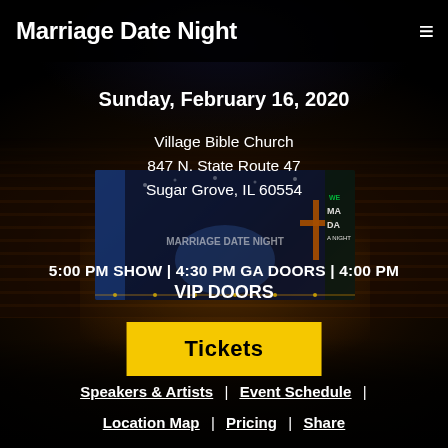Marriage Date Night
Sunday, February 16, 2020
Village Bible Church
847 N. State Route 47
Sugar Grove, IL 60554
[Figure (photo): Interior of an auditorium/church with rows of seats facing a stage with screens, including a promotional screen for Marriage Date Night event.]
5:00 PM SHOW | 4:30 PM GA DOORS | 4:00 PM VIP DOORS
Tickets
Speakers & Artists  |  Event Schedule  |  Location Map  |  Pricing  |  Share